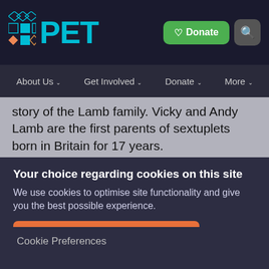PET — Donate | Search | Navigation bar with About Us, Get Involved, Donate, More
story of the Lamb family. Vicky and Andy Lamb are the first parents of sextuplets born in Britain for 17 years.
Your choice regarding cookies on this site
We use cookies to optimise site functionality and give you the best possible experience.
Accept Recommended Settings
Cookie Preferences